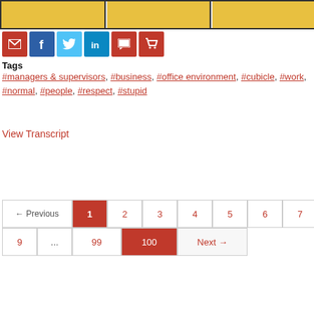[Figure (illustration): Three comic strip panels showing cartoon office characters in yellow jackets]
[Figure (infographic): Social sharing buttons: email (red), Facebook (blue), Twitter (light blue), LinkedIn (blue), comment (red), cart (red)]
Tags
#managers & supervisors, #business, #office environment, #cubicle, #work, #normal, #people, #respect, #stupid
View Transcript
← Previous  1  2  3  4  5  6  7  8  9  ...  99  100  Next →